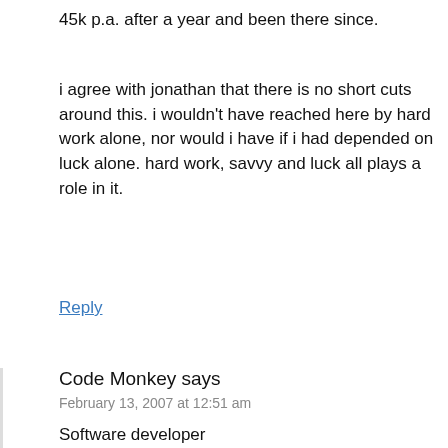45k p.a. after a year and been there since.
i agree with jonathan that there is no short cuts around this. i wouldn’t have reached here by hard work alone, nor would i have if i had depended on luck alone. hard work, savvy and luck all plays a role in it.
Reply
Code Monkey says
February 13, 2007 at 12:51 am
Software developer
$86k base salary
$2k bonus
$30k stock options
Education: MS (little difference from BS degree